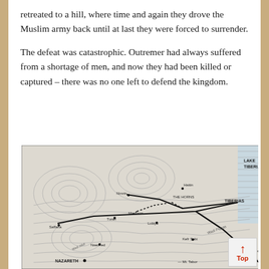retreated to a hill, where time and again they drove the Muslim army back until at last they were forced to surrender.
The defeat was catastrophic. Outremer had always suffered from a shortage of men, and now they had been killed or captured – there was no one left to defend the kingdom.
[Figure (map): Historical topographic map showing the region around Lake Tiberias (Sea of Galilee), with place names including Hattin, THE HORNS, TIBERIAS, Nimrin, Maskana, Lubiyo, Turan, Saffaria, Naenhed, Kefr Sabt, Sinnabra, NAZARETH, Mt. Tabor, and Wadi Fiqqas. Bold lines indicate routes or battle movements.]